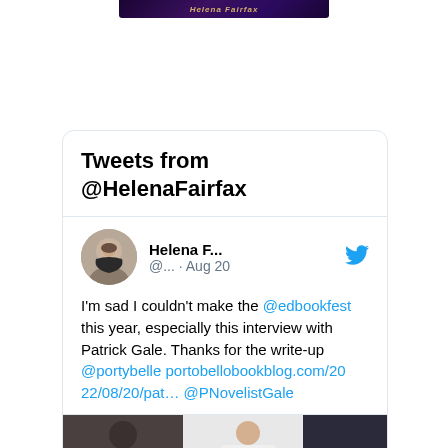[Figure (photo): Helena Fairfax book banner image at top of page]
Tweets from @HelenaFairfax
[Figure (photo): Avatar photo of Helena F. (woman with short grey hair)]
Helena F... @... · Aug 20
I'm sad I couldn't make the @edbookfest this year, especially this interview with Patrick Gale. Thanks for the write-up @portybelle portobellobookblog.com/2022/08/20/pat… @PNovelistGale
[Figure (photo): Photo of person holding a book at what appears to be a book festival event]